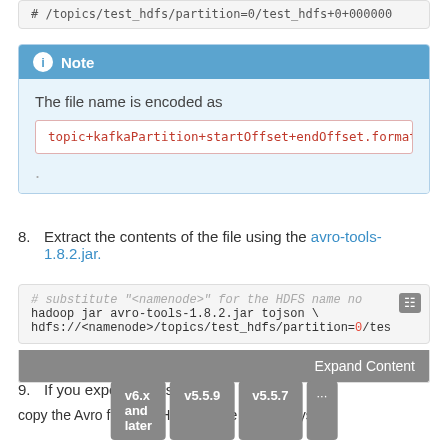# /topics/test_hdfs/partition=0/test_hdfs+0+000000
Note
The file name is encoded as
topic+kafkaPartition+startOffset+endOffset.format
8. Extract the contents of the file using the avro-tools-1.8.2.jar.
# substitute "<namenode>" for the HDFS name no...
hadoop jar avro-tools-1.8.2.jar tojson \
hdfs://<namenode>/topics/test_hdfs/partition=0/tes
Expand Content
9. If you experience issu...
copy the Avro file from HDFS to the local filesystem